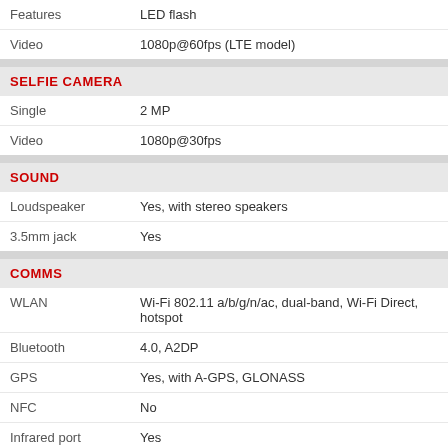| Feature | Value |
| --- | --- |
| Features | LED flash |
| Video | 1080p@60fps (LTE model) |
SELFIE CAMERA
| Feature | Value |
| --- | --- |
| Single | 2 MP |
| Video | 1080p@30fps |
SOUND
| Feature | Value |
| --- | --- |
| Loudspeaker | Yes, with stereo speakers |
| 3.5mm jack | Yes |
COMMS
| Feature | Value |
| --- | --- |
| WLAN | Wi-Fi 802.11 a/b/g/n/ac, dual-band, Wi-Fi Direct, hotspot |
| Bluetooth | 4.0, A2DP |
| GPS | Yes, with A-GPS, GLONASS |
| NFC | No |
| Infrared port | Yes |
| Radio | No |
| USB | microUSB 2.0 (MHL TV-out), USB On-The-Go |
FEATURES